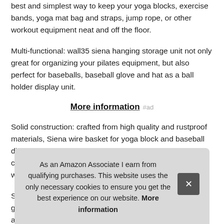best and simplest way to keep your yoga blocks, exercise bands, yoga mat bag and straps, jump rope, or other workout equipment neat and off the floor.
Multi-functional: wall35 siena hanging storage unit not only great for organizing your pilates equipment, but also perfect for baseballs, baseball glove and hat as a ball holder display unit.
More information #ad
Solid construction: crafted from high quality and rustproof materials, Siena wire basket for yoga block and baseball display with 5 metal hooks is built to last you years to come! You with
Spa gym setup or yoga studio: just use the hardware included and
As an Amazon Associate I earn from qualifying purchases. This website uses the only necessary cookies to ensure you get the best experience on our website. More information